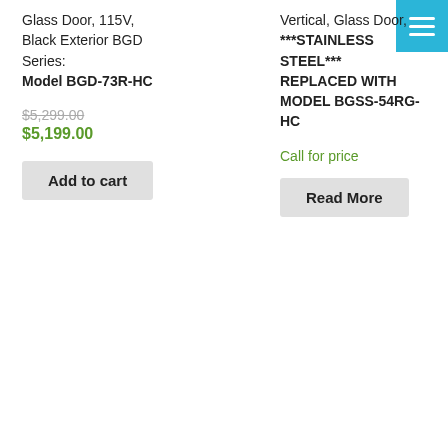Glass Door, 115V, Black Exterior BGD Series: Model BGD-73R-HC
$5,299.00 (strikethrough)
$5,199.00
Add to cart
Vertical, Glass Door, ***STAINLESS STEEL*** REPLACED WITH MODEL BGSS-54RG-HC
Call for price
Read More
[Figure (photo): Two-door stainless steel refrigerator with glass doors, with a green Sale! badge]
54.5" 2-DOOR REFRIGERATOR STAINLESS STEEL
[Figure (photo): Three-door refrigerator with glass sliding doors, wide horizontal unit]
81" COLDCO 3-DOOR REFRIGERATOR